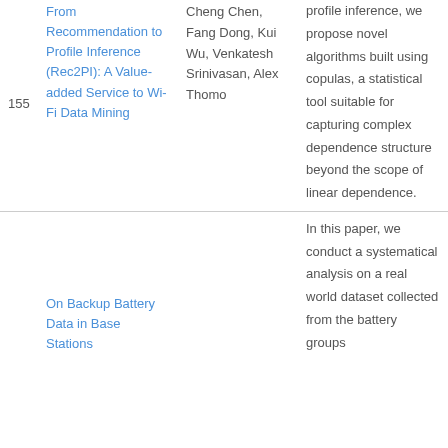| # | Title | Authors | Abstract |
| --- | --- | --- | --- |
| 155 | From Recommendation to Profile Inference (Rec2PI): A Value-added Service to Wi-Fi Data Mining | Cheng Chen, Fang Dong, Kui Wu, Venkatesh Srinivasan, Alex Thomo | profile inference, we propose novel algorithms built using copulas, a statistical tool suitable for capturing complex dependence structure beyond the scope of linear dependence. |
|  | On Backup Battery Data in Base Stations |  | In this paper, we conduct a systematical analysis on a real world dataset collected from the battery groups |